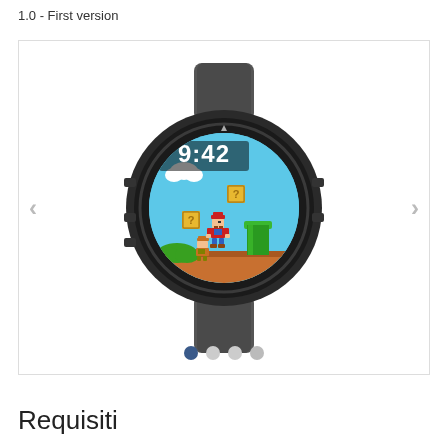1.0 - First version
[Figure (photo): A Garmin smartwatch (Fenix 5 or similar) with a Mario Bros themed watch face showing the time 9:42 and Super Mario Bros game scene with Mario character, question blocks, pipes, and a blue sky background. The watch has a dark grey/black case and silicone band. Navigation arrows on left and right sides, and pagination dots (4 dots, first active) at bottom.]
Requisiti